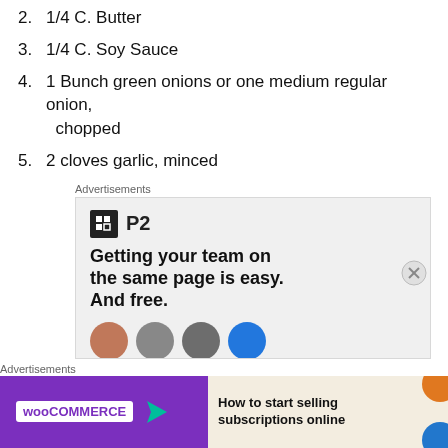2. 1/4 C. Butter
3. 1/4 C. Soy Sauce
4. 1 Bunch green onions or one medium regular onion, chopped
5. 2 cloves garlic, minced
Advertisements
[Figure (other): P2 advertisement: logo with black square containing a grid icon and 'P2' text, tagline 'Getting your team on the same page is easy. And free.' with people face icons at the bottom]
Advertisements
[Figure (other): WooCommerce advertisement: purple background with WooCommerce logo and green arrow, right side beige with text 'How to start selling subscriptions online' with orange and blue decorative shapes]